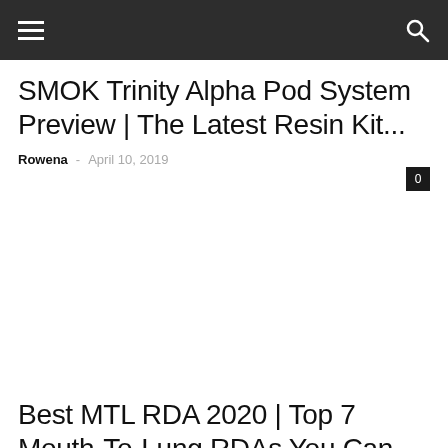SMOK Trinity Alpha Pod System Preview | The Latest Resin Kit...
Rowena - April 10, 2019
[Figure (other): Empty white image placeholder area for SMOK Trinity Alpha Pod System article]
Best MTL RDA 2020 | Top 7 Mouth-To-Lung RDAs You Can...